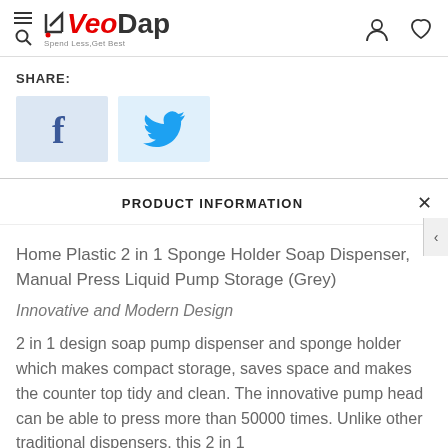VeoDap — Spend Less, Get Best — navigation header
SHARE:
[Figure (illustration): Facebook share button (blue background with white 'f' logo) and Twitter share button (light blue background with blue bird logo)]
PRODUCT INFORMATION
Home Plastic 2 in 1 Sponge Holder Soap Dispenser, Manual Press Liquid Pump Storage (Grey)
Innovative and Modern Design
2 in 1 design soap pump dispenser and sponge holder which makes compact storage, saves space and makes the counter top tidy and clean. The innovative pump head can be able to press more than 50000 times. Unlike other traditional dispensers, this 2 in 1